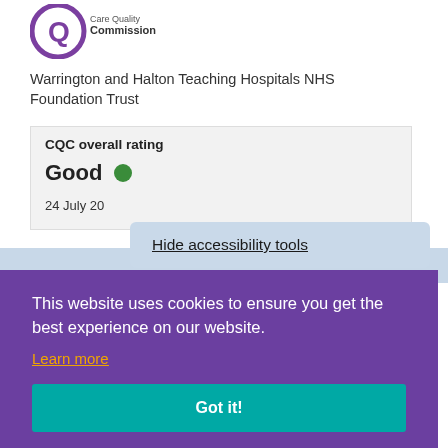[Figure (logo): Care Quality Commission logo with purple Q icon and text]
Warrington and Halton Teaching Hospitals NHS Foundation Trust
CQC overall rating
Good ● (green dot indicator)
24 July 20
Hide accessibility tools
This website uses cookies to ensure you get the best experience on our website.
Learn more
Got it!